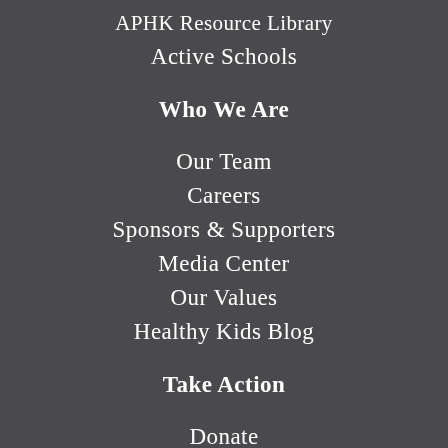APHK Resource Library
Active Schools
Who We Are
Our Team
Careers
Sponsors & Supporters
Media Center
Our Values
Healthy Kids Blog
Take Action
Donate